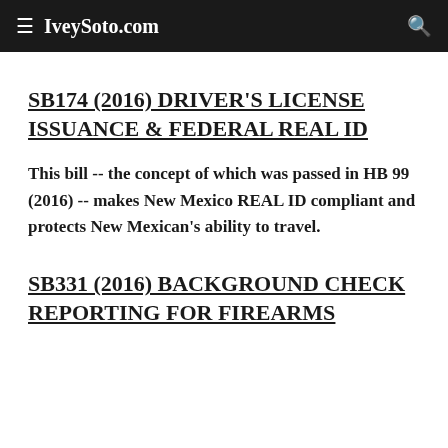IveySoto.com
SB174 (2016) DRIVER'S LICENSE ISSUANCE & FEDERAL REAL ID
This bill -- the concept of which was passed in HB 99 (2016) -- makes New Mexico REAL ID compliant and protects New Mexican's ability to travel.
SB331 (2016) BACKGROUND CHECK REPORTING FOR FIREARMS